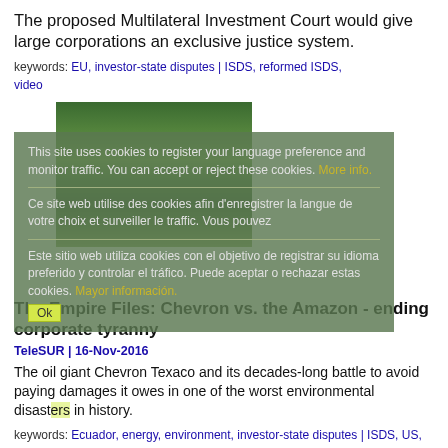The proposed Multilateral Investment Court would give large corporations an exclusive justice system.
keywords: EU, investor-state disputes | ISDS, reformed ISDS, video
[Figure (photo): Photo of a forest or natural landscape with green foliage and water reflections, partially obscured by a multi-language cookie consent overlay in a semi-transparent green box. The overlay text reads: 'This site uses cookies to register your language preference and monitor traffic. You can accept or reject these cookies. More info.' (EN), 'Ce site web utilise des cookies afin d'enregistrer la langue de votre choix et surveiller le traffic. Vous pouvez accepter ou refuser ces cookies. Plus d'info.' (FR), 'Este sitio web utiliza cookies con el objetivo de registrar su idioma preferido y controlar el tráfico. Puede aceptar o rechazar estas cookies. Mayor información.' (ES), with an 'Ok' button.]
The Empire Files: Chevron vs. the Amazon - ending corporate tyranny
TeleSUR | 16-Nov-2016
The oil giant Chevron Texaco and its decades-long battle to avoid paying damages it owes in one of the worst environmental disasters in history.
keywords: Ecuador, energy, environment, investor-state disputes | ISDS, US, video